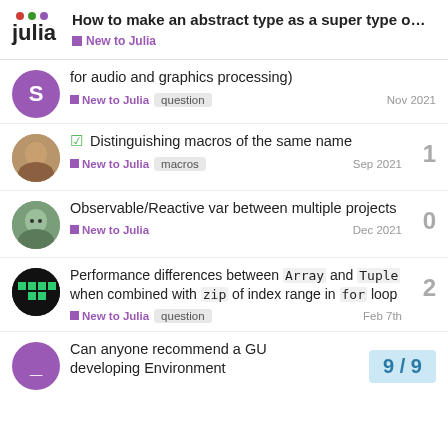How to make an abstract type as a super type o... — New to Julia
for audio and graphics processing)
New to Julia  question  Nov 2021
✓ Distinguishing macros of the same name
New to Julia  macros  Sep 2021  1
Observable/Reactive var between multiple projects
New to Julia  Dec 2021  0
Performance differences between `Array` and `Tuple` when combined with `zip` of index range in `for` loop
New to Julia  question  Feb 7th  2
Can anyone recommend a GU developing Environment
9 / 9